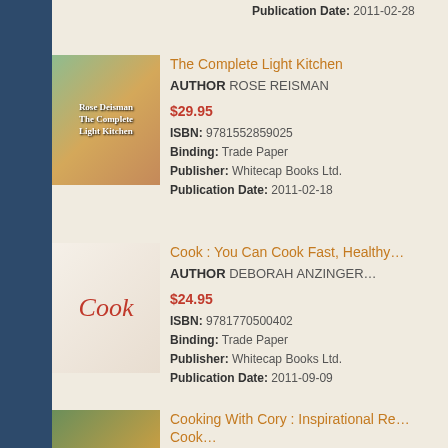Publication Date: 2011-02-28
[Figure (photo): Book cover of The Complete Light Kitchen by Rose Reisman, showing food images]
The Complete Light Kitchen
AUTHOR ROSE REISMAN
$29.95
ISBN: 9781552859025
Binding: Trade Paper
Publisher: Whitecap Books Ltd.
Publication Date: 2011-02-18
[Figure (photo): Book cover of Cook by Deborah Anzinger, white cover with red illustrated figure]
Cook : You Can Cook Fast, Healthy…
AUTHOR DEBORAH ANZINGER…
$24.95
ISBN: 9781770500402
Binding: Trade Paper
Publisher: Whitecap Books Ltd.
Publication Date: 2011-09-09
[Figure (photo): Partial book cover of Cooking With Cory showing food images]
Cooking With Cory : Inspirational Re… Cook…